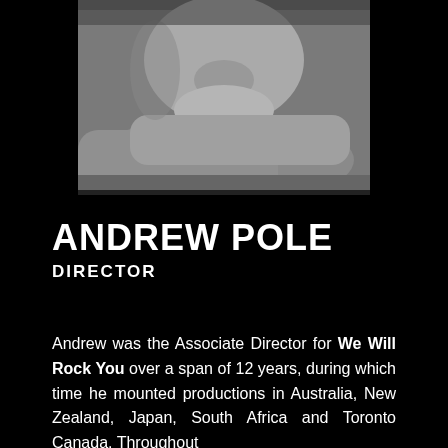[Figure (photo): Black and white close-up photograph of a man resting his chin on his crossed arms, showing his face from nose down and his forearms.]
ANDREW POLE
DIRECTOR
Andrew was the Associate Director for We Will Rock You over a span of 12 years, during which time he mounted productions in Australia, New Zealand, Japan, South Africa and Toronto Canada. Throughout